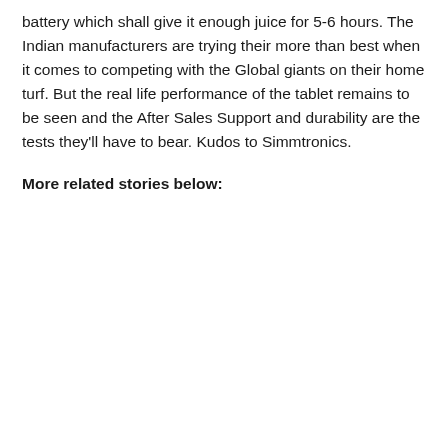battery which shall give it enough juice for 5-6 hours. The Indian manufacturers are trying their more than best when it comes to competing with the Global giants on their home turf. But the real life performance of the tablet remains to be seen and the After Sales Support and durability are the tests they'll have to bear. Kudos to Simmtronics.
More related stories below: